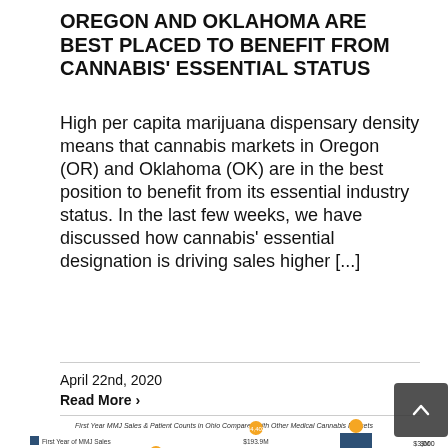OREGON AND OKLAHOMA ARE BEST PLACED TO BENEFIT FROM CANNABIS' ESSENTIAL STATUS
High per capita marijuana dispensary density means that cannabis markets in Oregon (OR) and Oklahoma (OK) are in the best position to benefit from its essential industry status. In the last few weeks, we have discussed how cannabis' essential designation is driving sales higher [...]
April 22nd, 2020
Read More ›
[Figure (grouped-bar-chart): Bar chart showing First Year MMJ Sales and Patient Counts in Ohio compared with other medical cannabis markets. Partial chart visible at bottom of page.]